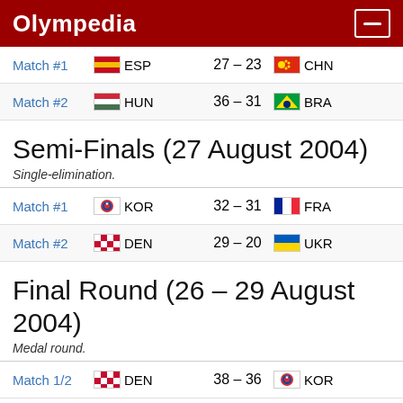Olympedia
| Match | Team 1 | Score | Team 2 |
| --- | --- | --- | --- |
| Match #1 | ESP | 27 – 23 | CHN |
| Match #2 | HUN | 36 – 31 | BRA |
Semi-Finals (27 August 2004)
Single-elimination.
| Match | Team 1 | Score | Team 2 |
| --- | --- | --- | --- |
| Match #1 | KOR | 32 – 31 | FRA |
| Match #2 | DEN | 29 – 20 | UKR |
Final Round (26 – 29 August 2004)
Medal round.
| Match | Team 1 | Score | Team 2 |
| --- | --- | --- | --- |
| Match 1/2 | DEN | 38 – 36 | KOR |